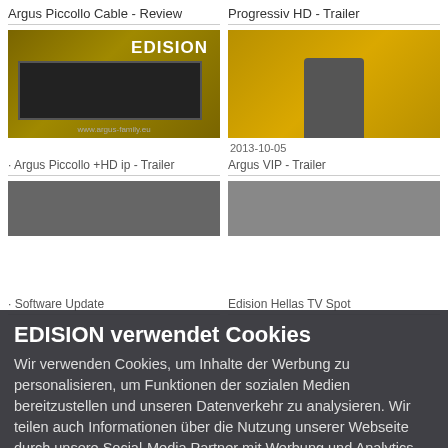Argus Piccollo Cable - Review
Progressiv HD - Trailer
[Figure (screenshot): Screenshot of Edision device review thumbnail - shows cable receiver device on gold background with EDISION branding]
[Figure (screenshot): Screenshot of Progressiv HD trailer thumbnail - shows person on colorful background]
2013-10-05
Argus Piccollo +HD ip - Trailer
Argus VIP - Trailer
EDISION verwendet Cookies
Wir verwenden Cookies, um Inhalte der Werbung zu personalisieren, um Funktionen der sozialen Medien bereitzustellen und unseren Datenverkehr zu analysieren. Wir teilen auch Informationen über die Nutzung unserer Webseite durch unsere Social-Media Partner mit Werbung und Analytics weiter, die unter anderem werden Informationen kombiniert, die Sie bei der Nutzung der Dienste bereitgestellt oder gesammelt haben. Sie stimmen mit unseren Cookies zu, wenn Sie unsere Webseite weiterhin nutzen.
Software Update
Edision Hellas TV Spot
Notwendige Cookies
Statistiken
Marketing